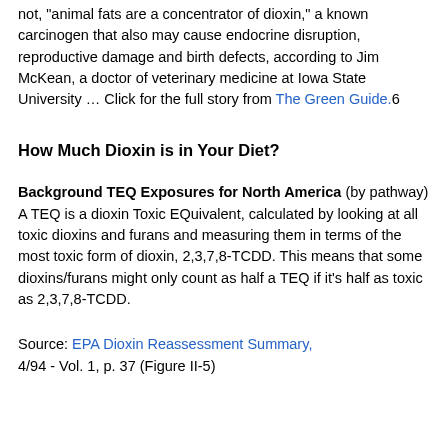not, "animal fats are a concentrator of dioxin," a known carcinogen that also may cause endocrine disruption, reproductive damage and birth defects, according to Jim McKean, a doctor of veterinary medicine at Iowa State University … Click for the full story from The Green Guide.6
How Much Dioxin is in Your Diet?
Background TEQ Exposures for North America (by pathway)
A TEQ is a dioxin Toxic EQuivalent, calculated by looking at all toxic dioxins and furans and measuring them in terms of the most toxic form of dioxin, 2,3,7,8-TCDD. This means that some dioxins/furans might only count as half a TEQ if it's half as toxic as 2,3,7,8-TCDD.
Source: EPA Dioxin Reassessment Summary, 4/94 - Vol. 1, p. 37 (Figure II-5)